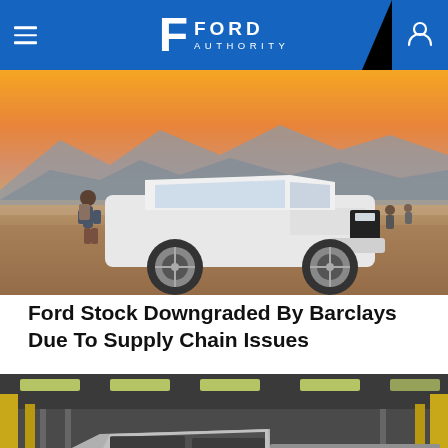Ford Authority
[Figure (photo): White Ford Explorer SUV parked on a dirt field at sunset with mountains in the background and people standing nearby]
Ford Stock Downgraded By Barclays Due To Supply Chain Issues
[Figure (photo): Silver electric pickup truck (Lordstown Endurance) parked inside a factory/warehouse with yellow structural elements in the background and orange-accented wheels]